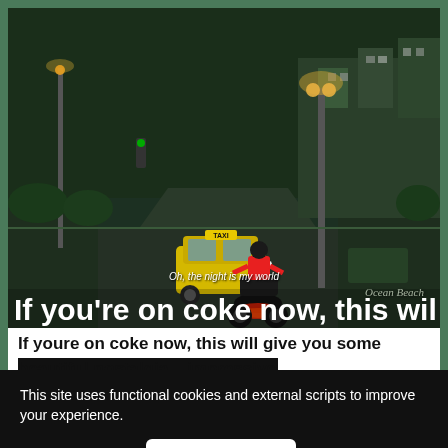[Figure (screenshot): GTA Vice City style video game screenshot at night showing a motorcyclist on a city street with a yellow taxi, streetlights, buildings, and 'Ocean Beach' watermark overlay. Subtitle text reads 'Oh, the night is my world']
If you're on coke now, this wil
If youre on coke now, this will give you some beautiful nostalgia... impressive
This site uses functional cookies and external scripts to improve your experience.
MY SETTINGS
I ACCEPT